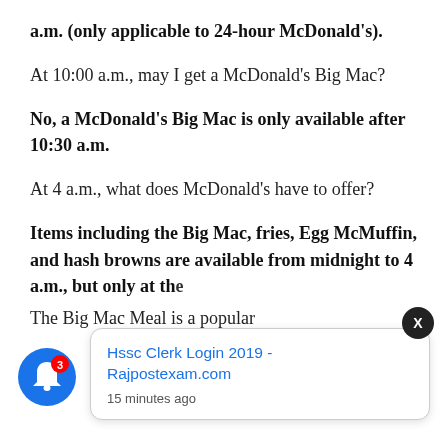a.m. (only applicable to 24-hour McDonald's).
At 10:00 a.m., may I get a McDonald's Big Mac?
No, a McDonald's Big Mac is only available after 10:30 a.m.
At 4 a.m., what does McDonald's have to offer?
Items including the Big Mac, fries, Egg McMuffin, and hash browns are available from midnight to 4 a.m., but only at the... that a...
Hssc Clerk Login 2019 - Rajpostexam.com
15 minutes ago
The Big Mac Meal is a popular